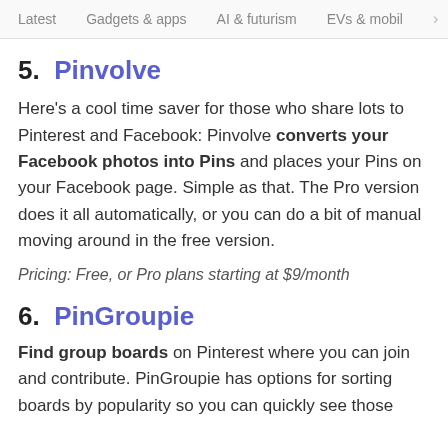Latest   Gadgets & apps   AI & futurism   EVs & mobil  >
5.  Pinvolve
Here's a cool time saver for those who share lots to Pinterest and Facebook: Pinvolve converts your Facebook photos into Pins and places your Pins on your Facebook page. Simple as that. The Pro version does it all automatically, or you can do a bit of manual moving around in the free version.
Pricing: Free, or Pro plans starting at $9/month
6.  PinGroupie
Find group boards on Pinterest where you can join and contribute. PinGroupie has options for sorting boards by popularity so you can quickly see those